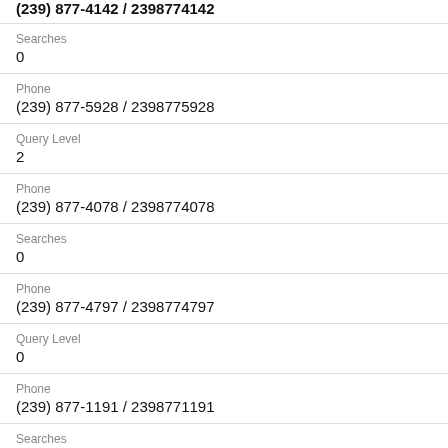(239) 877-4142 / 2398774142
Searches
0
Phone
(239) 877-5928 / 2398775928
Query Level
2
Phone
(239) 877-4078 / 2398774078
Searches
0
Phone
(239) 877-4797 / 2398774797
Query Level
0
Phone
(239) 877-1191 / 2398771191
Searches
0